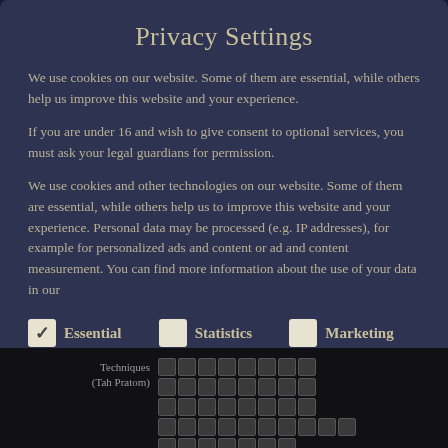Privacy Settings
We use cookies on our website. Some of them are essential, while others help us improve this website and your experience.
If you are under 16 and wish to give consent to optional services, you must ask your legal guardians for permission.
We use cookies and other technologies on our website. Some of them are essential, while others help us to improve this website and your experience. Personal data may be processed (e.g. IP addresses), for example for personalized ads and content or ad and content measurement. You can find more information about the use of your data in our
Essential (checked)
Statistics (unchecked)
Marketing (unchecked)
External Media (unchecked)
Techniques (Tah Pratom)